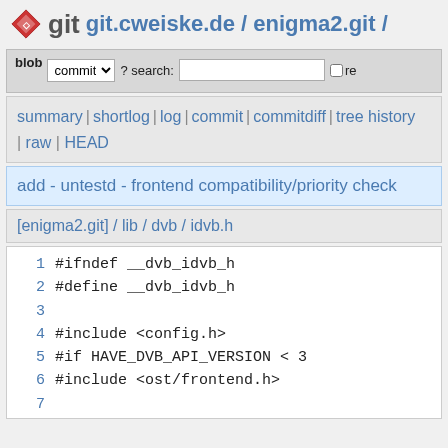git git.cweiske.de / enigma2.git /
blob | commit ▾ ? search: □re
summary | shortlog | log | commit | commitdiff | tree history | raw | HEAD
add - untestd - frontend compatibility/priority check
[enigma2.git] / lib / dvb / idvb.h
1 #ifndef __dvb_idvb_h
2 #define __dvb_idvb_h
3
4 #include <config.h>
5 #if HAVE_DVB_API_VERSION < 3
6 #include <ost/frontend.h>
7